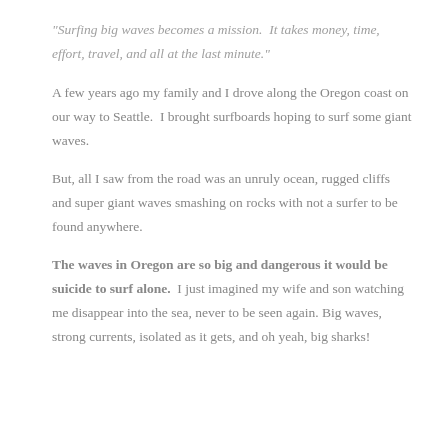“Surfing big waves becomes a mission.  It takes money, time, effort, travel, and all at the last minute.”
A few years ago my family and I drove along the Oregon coast on our way to Seattle.  I brought surfboards hoping to surf some giant waves.
But, all I saw from the road was an unruly ocean, rugged cliffs and super giant waves smashing on rocks with not a surfer to be found anywhere.
The waves in Oregon are so big and dangerous it would be suicide to surf alone.  I just imagined my wife and son watching me disappear into the sea, never to be seen again. Big waves, strong currents, isolated as it gets, and oh yeah, big sharks!